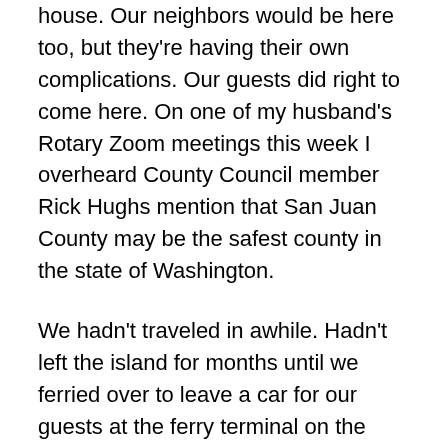house. Our neighbors would be here too, but they're having their own complications. Our guests did right to come here. On one of my husband's Rotary Zoom meetings this week I overheard County Council member Rick Hughs mention that San Juan County may be the safest county in the state of Washington.
We hadn't traveled in awhile. Hadn't left the island for months until we ferried over to leave a car for our guests at the ferry terminal on the mainland. Because, of course, we can't ride together. We can't even hug.
So our guests came home to our house and we moved in next door. Our dogs zigzag back and forth between the two homes, otherwise this is all so diplomatic, it's almost détente.
There is no other way to say it. I am beside myself.